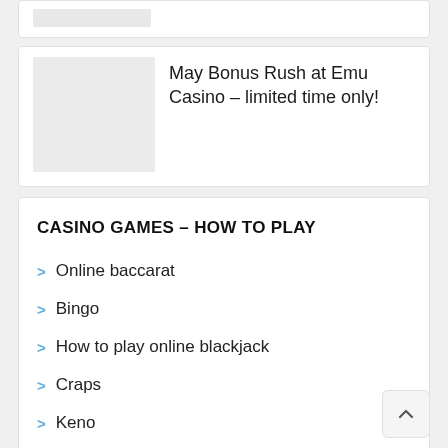[Figure (photo): Placeholder image at top (partial, cut off)]
[Figure (photo): Placeholder image for May Bonus Rush at Emu Casino article]
May Bonus Rush at Emu Casino – limited time only!
CASINO GAMES – HOW TO PLAY
Online baccarat
Bingo
How to play online blackjack
Craps
Keno
Pokies